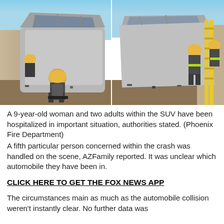[Figure (photo): Two side-by-side photos of a severely crashed SUV with firefighters working at the scene. Left photo shows a firefighter crouching near the crushed front of the vehicle. Right photo shows firefighters with ladders and tools working on the passenger side of the same vehicle.]
A 9-year-old woman and two adults within the SUV have been hospitalized in important situation, authorities stated. (Phoenix Fire Department)
A fifth particular person concerned within the crash was handled on the scene, AZFamily reported. It was unclear which automobile they have been in.
CLICK HERE TO GET THE FOX NEWS APP
The circumstances main as much as the automobile collision weren't instantly clear. No further data was